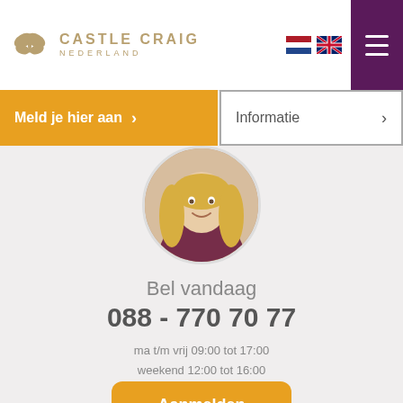[Figure (logo): Castle Craig Nederland logo with butterfly icon and text]
[Figure (photo): Circular profile photo of a woman with long blonde hair wearing a dark red top]
Bel vandaag
088 - 770 70 77
ma t/m vrij 09:00 tot 17:00
weekend 12:00 tot 16:00
Aanmelden
Informatie